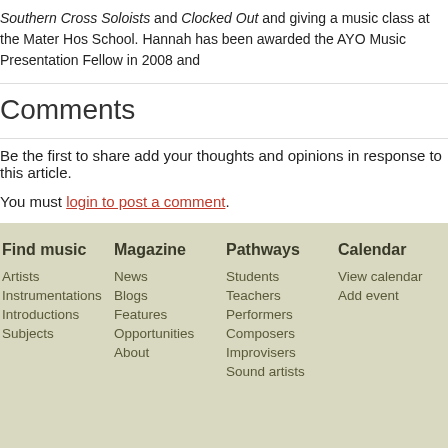Southern Cross Soloists and Clocked Out and giving a music class at the Mater Hos School. Hannah has been awarded the AYO Music Presentation Fellow in 2008 and
Comments
Be the first to share add your thoughts and opinions in response to this article.
You must login to post a comment.
Find music
Artists
Instrumentations
Introductions
Subjects
Magazine
News
Blogs
Features
Opportunities
About
Pathways
Students
Teachers
Performers
Composers
Improvisers
Sound artists
Calendar
View calendar
Add event